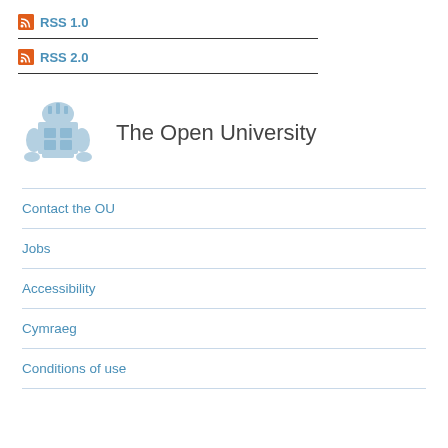RSS 1.0
RSS 2.0
[Figure (logo): The Open University coat of arms logo with text 'The Open University']
Contact the OU
Jobs
Accessibility
Cymraeg
Conditions of use